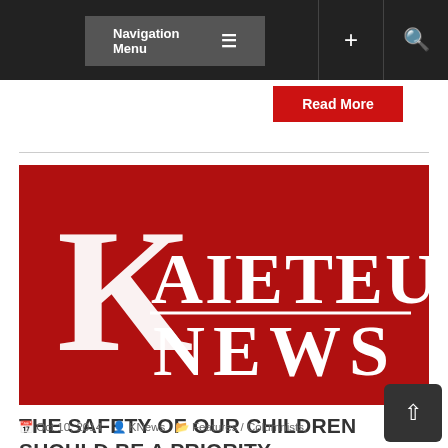Navigation Menu
Read More
[Figure (logo): Kaieteur News logo — large white K with serif font on red background, with 'KAIETEUR' and 'NEWS' text in white]
THE SAFETY OF OUR CHILDREN SHOULD BE A PRIORITY
Oct 10, 2014  KNews  Features / Columnists,